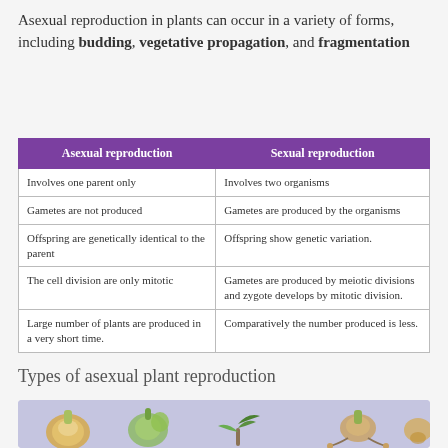Asexual reproduction in plants can occur in a variety of forms, including budding, vegetative propagation, and fragmentation
| Asexual reproduction | Sexual reproduction |
| --- | --- |
| Involves one parent only | Involves two organisms |
| Gametes are not produced | Gametes are produced by the organisms |
| Offspring are genetically identical to the parent | Offspring show genetic variation. |
| The cell division are only mitotic | Gametes are produced by meiotic divisions and zygote develops by mitotic division. |
| Large number of plants are produced in a very short time. | Comparatively the number produced is less. |
Types of asexual plant reproduction
[Figure (illustration): Illustrations of different types of asexual plant reproduction including bulbs, budding plants, and rhizomes on a purple/lavender background]